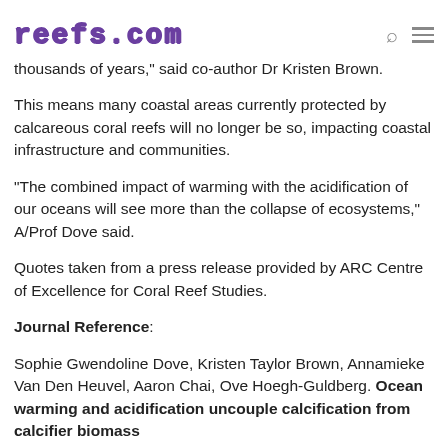reefs.com
thousands of years," said co-author Dr Kristen Brown.
This means many coastal areas currently protected by calcareous coral reefs will no longer be so, impacting coastal infrastructure and communities.
“The combined impact of warming with the acidification of our oceans will see more than the collapse of ecosystems,” A/Prof Dove said.
Quotes taken from a press release provided by ARC Centre of Excellence for Coral Reef Studies.
Journal Reference:
Sophie Gwendoline Dove, Kristen Taylor Brown, Annamieke Van Den Heuvel, Aaron Chai, Ove Hoegh-Guldberg. Ocean warming and acidification uncouple calcification from calcifier biomass